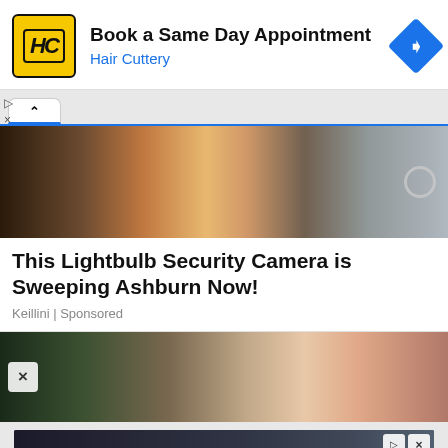[Figure (screenshot): Hair Cuttery advertisement banner with HC logo, 'Book a Same Day Appointment' headline, 'Hair Cuttery' subtext in blue, and blue navigation diamond icon on the right]
▷
×
[Figure (screenshot): Browser tab bar with a white tab showing a caret/chevron up icon]
[Figure (photo): Partial photo of a hand holding a white circular lightbulb security camera with an orange drill/device, and electronic components in the background]
This Lightbulb Security Camera is Sweeping Ashburn Now!
Keillini | Sponsored
[Figure (photo): Partial photo showing a person and dark architectural elements, with an X close button overlay]
[Figure (screenshot): Helbiz advertisement showing a scooter image with text 'Download Helbiz and ride' on a dark background, with ad control buttons in top right]